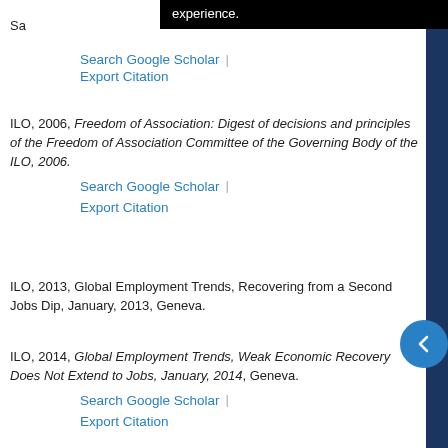Sa...experience.
Search Google Scholar | Export Citation
ILO, 2006, Freedom of Association: Digest of decisions and principles of the Freedom of Association Committee of the Governing Body of the ILO, 2006.
Search Google Scholar | Export Citation
ILO, 2013, Global Employment Trends, Recovering from a Second Jobs Dip, January, 2013, Geneva.
ILO, 2014, Global Employment Trends, Weak Economic Recovery Does Not Extend to Jobs, January, 2014, Geneva.
Search Google Scholar | Export Citation